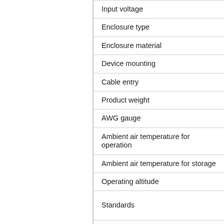| Property |
| --- |
| Input voltage |
| Enclosure type |
| Enclosure material |
| Device mounting |
| Cable entry |
| Product weight |
| AWG gauge |
| Ambient air temperature for operation |
| Ambient air temperature for storage |
| Operating altitude |
| Standards |
| Product certifications |
| Marking |
Detailed Description
General
The Schneider Electric XW MPPT can be us...